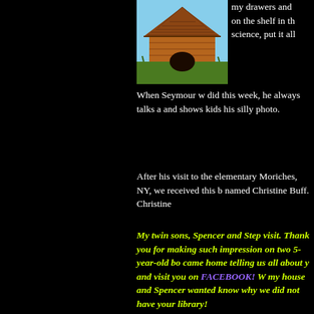[Figure (illustration): Cartoon illustration of Snoopy's doghouse — a brown wooden doghouse with a triangular roof, set on green grass]
my drawers and on the shelf in the science, put it all
When Seymour w did this week, he always talks a and shows kids his silly photo.
After his visit to the elementary Moriches, NY, we received this b named Christine Buff. Christine
My twin sons, Spencer and Step visit. Thank you for making such impression on two 5-year-old bo came home telling us all about y and visit you on FACEBOOK!  W my house and Spencer wanted know why we did not have your library!